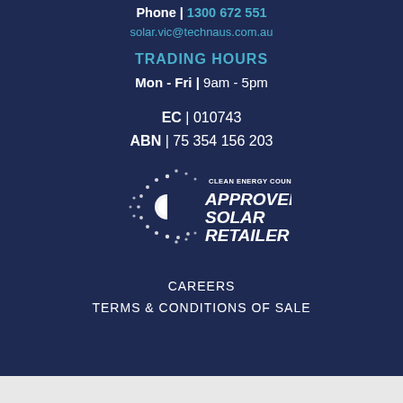Phone | 1300 672 551
solar.vic@technaus.com.au
TRADING HOURS
Mon - Fri | 9am - 5pm
EC | 010743
ABN | 75 354 156 203
[Figure (logo): Clean Energy Council Approved Solar Retailer logo with stylized C made of dots]
CAREERS
TERMS & CONDITIONS OF SALE